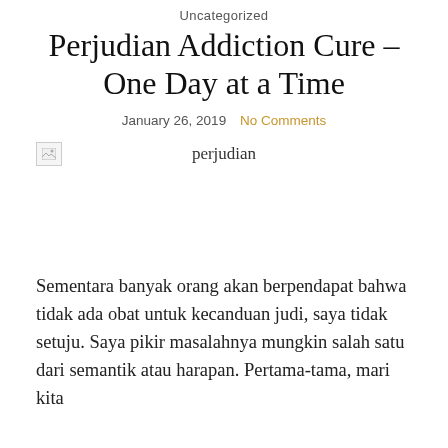Uncategorized
Perjudian Addiction Cure – One Day at a Time
January 26, 2019   No Comments
[Figure (photo): Broken image placeholder with alt text 'perjudian']
Sementara banyak orang akan berpendapat bahwa tidak ada obat untuk kecanduan judi, saya tidak setuju. Saya pikir masalahnya mungkin salah satu dari semantik atau harapan. Pertama-tama, mari kita